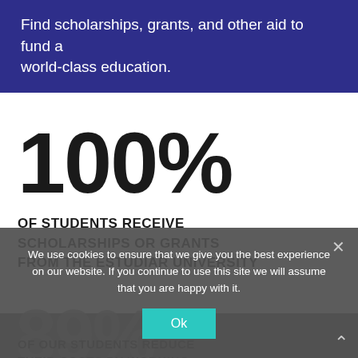Find scholarships, grants, and other aid to fund a world-class education.
100%
OF STUDENTS RECEIVE SCHOLARSHIPS OR GRANTS FROM THE ESTUDIAR UNIVERSITY
89%
OF OUR STUDENTS REDUCE THEIR COSTS BY WORKING
We use cookies to ensure that we give you the best experience on our website. If you continue to use this site we will assume that you are happy with it.